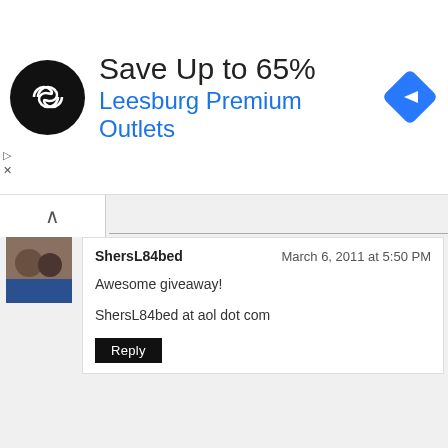[Figure (infographic): Advertisement banner for Leesburg Premium Outlets showing a circular black logo with a stylized infinity/arrow icon, text 'Save Up to 65%' and 'Leesburg Premium Outlets' in blue, and a blue diamond navigation arrow icon on the right.]
[Figure (photo): Small avatar photo showing two people (a man and a woman).]
ShersL84bed — March 6, 2011 at 5:50 PM
Awesome giveaway!
ShersL84bed at aol dot com
[Figure (photo): Small avatar photo showing a wooden fence or outdoor structure.]
Stella — March 6, 2011 at 6:10 PM
More tools = more possiblities. Thanks for sponsoring this giveaway. I'm sure the winner will appreciate 25 bucks for tools.
[Figure (photo): Small avatar photo partially visible at the bottom of the page.]